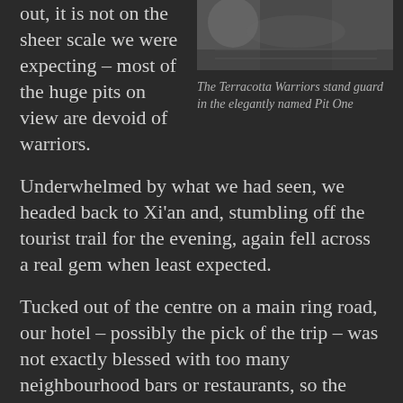out, it is not on the sheer scale we were expecting – most of the huge pits on view are devoid of warriors.
[Figure (photo): Aerial or overhead view of Terracotta Warriors in Pit One, black and white/dark toned photograph]
The Terracotta Warriors stand guard in the elegantly named Pit One
Underwhelmed by what we had seen, we headed back to Xi'an and, stumbling off the tourist trail for the evening, again fell across a real gem when least expected.
Tucked out of the centre on a main ring road, our hotel – possibly the pick of the trip – was not exactly blessed with too many neighbourhood bars or restaurants, so the usual suspects stumbled down the road to the nearest noodle bar with the express intention of a quick snack and a quiet night.